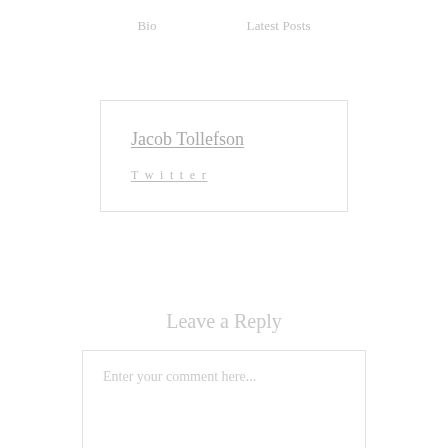Bio	Latest Posts
Jacob Tollefson
Twitter
Leave a Reply
Enter your comment here...